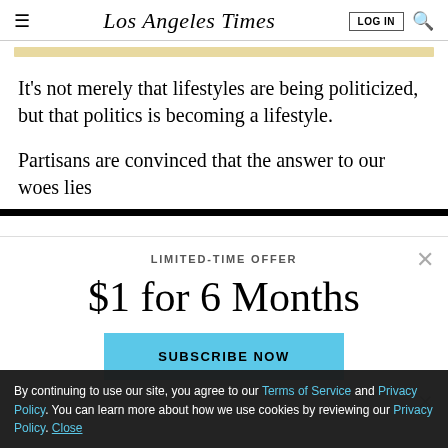Los Angeles Times
It’s not merely that lifestyles are being politicized, but that politics is becoming a lifestyle.
Partisans are convinced that the answer to our woes lies
LIMITED-TIME OFFER
$1 for 6 Months
SUBSCRIBE NOW
By continuing to use our site, you agree to our Terms of Service and Privacy Policy. You can learn more about how we use cookies by reviewing our Privacy Policy. Close